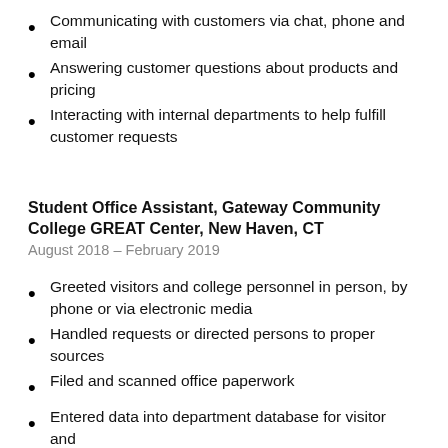Communicating with customers via chat, phone and email
Answering customer questions about products and pricing
Interacting with internal departments to help fulfill customer requests
Student Office Assistant, Gateway Community College GREAT Center, New Haven, CT
August 2018 – February 2019
Greeted visitors and college personnel in person, by phone or via electronic media
Handled requests or directed persons to proper sources
Filed and scanned office paperwork
Entered data into department database for visitor and